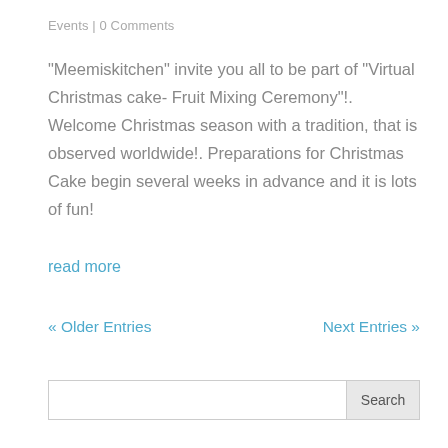Events | 0 Comments
“Meemiskitchen” invite you all to be part of “Virtual Christmas cake- Fruit Mixing Ceremony”!. Welcome Christmas season with a tradition, that is observed worldwide!. Preparations for Christmas Cake begin several weeks in advance and it is lots of fun!
read more
« Older Entries   Next Entries »